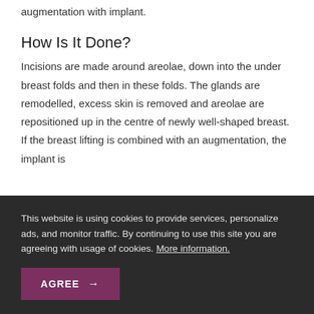augmentation with implant.
How Is It Done?
Incisions are made around areolae, down into the under breast folds and then in these folds. The glands are remodelled, excess skin is removed and areolae are repositioned up in the centre of newly well-shaped breast. If the breast lifting is combined with an augmentation, the implant is
This website is using cookies to provide services, personalize ads, and monitor traffic. By continuing to use this site you are agreeing with usage of cookies. More information.